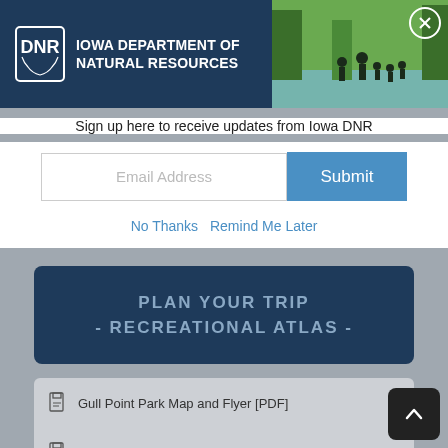[Figure (screenshot): Iowa Department of Natural Resources header banner with DNR logo on dark blue background and a photo of people walking in a creek/stream on the right side, with a circular close (X) button overlay]
Sign up here to receive updates from Iowa DNR
[Figure (screenshot): Email Address input field next to a blue Submit button]
No Thanks   Remind Me Later
PLAN YOUR TRIP - RECREATIONAL ATLAS -
Gull Point Park Map and Flyer [PDF]
Gull Point Campground Map [PDF]
Marble Beach Campground Map [PDF]
Elinor Bedell Campground Map [PDF]
Emerson Bay Campground Map [PDF]